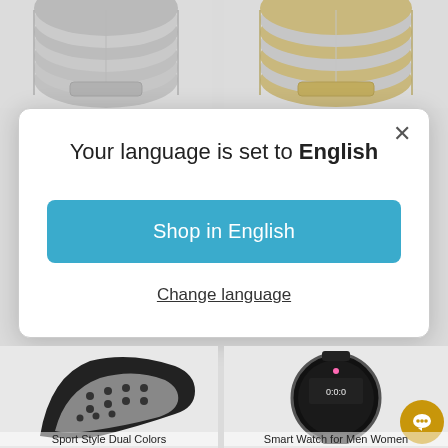[Figure (photo): Silver metal watch band, top-left product image]
[Figure (photo): Gold and silver two-tone metal watch band, top-right product image]
Your language is set to English
Shop in English
Change language
[Figure (photo): Black sport style dual color perforated silicone watch band, bottom-left]
[Figure (photo): Smart Watch for Men Women, round smart watch face, bottom-right]
Sport Style Dual Colors
Smart Watch for Men Women